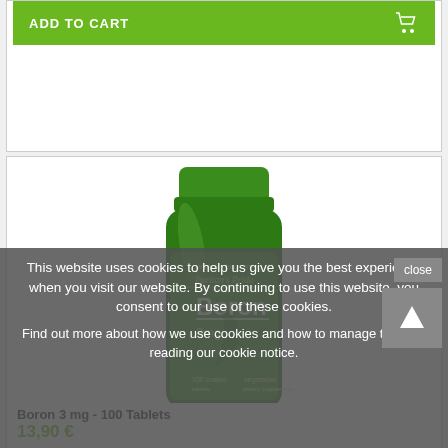ADD TO CART
[Figure (photo): Green bottle of Puritan's Pride Boron 3mg 100 coated tablets dietary supplement]
This website uses cookies to help us give you the best experience when you visit our website. By continuing to use this website, you consent to our use of these cookies.
Find out more about how we use cookies and how to manage them by reading our cookie notice.
Boron 3 mg - 100 Tablets
13,90 €